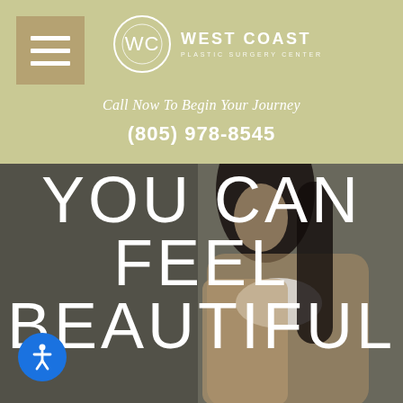[Figure (logo): West Coast Plastic Surgery Center logo with circular WC monogram and menu hamburger icon on tan background]
Call Now To Begin Your Journey
(805) 978-8545
[Figure (photo): Woman with long dark hair looking upward, wearing white bra and tan cardigan, overlaid with large white text YOU CAN FEEL BEAUTIFUL]
YOU CAN FEEL BEAUTIFUL